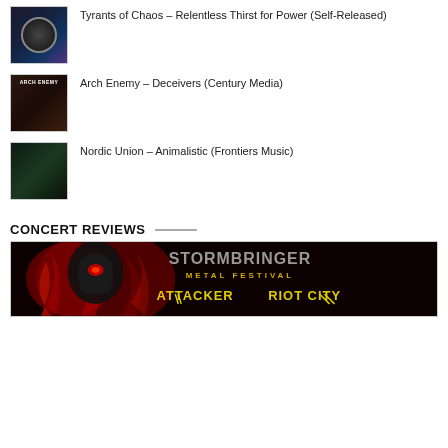Tyrants of Chaos – Relentless Thirst for Power (Self-Released)
Arch Enemy – Deceivers (Century Media)
Nordic Union – Animalistic (Frontiers Music)
CONCERT REVIEWS
[Figure (photo): Stormbringer Metal Festival promotional banner with Attacker and Riot City logos on dark red/black background]